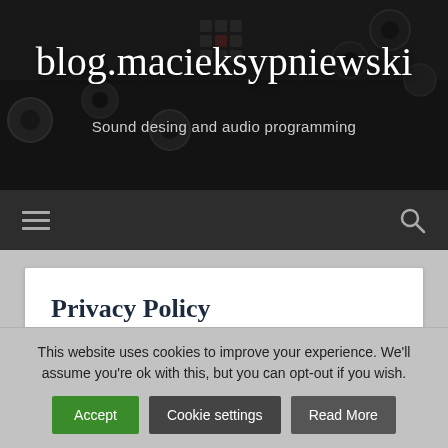[Figure (photo): Dark background image of audio mixing equipment/knobs with blog header overlay]
blog.macieksypniewski
Sound desing and audio programming
[Figure (other): Navigation bar with hamburger menu icon on left and search icon on right]
Privacy Policy
This website uses cookies to improve your experience. We'll assume you're ok with this, but you can opt-out if you wish.
Accept
Cookie settings
Read More